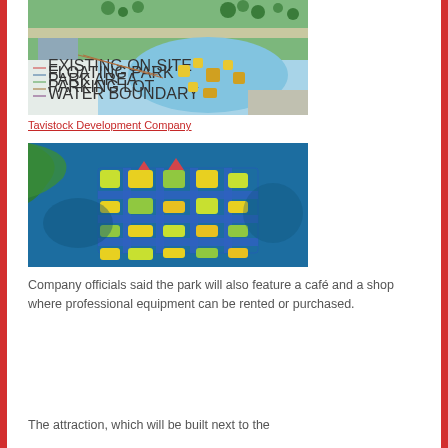[Figure (map): Aerial site plan / map of a waterpark development showing green landscaping, a lake with floating attractions, buildings, and a legend on the left side.]
Tavistock Development Company
[Figure (photo): Aerial photograph of a large inflatable water park floating in blue ocean/lake water near a shoreline, with green and yellow inflatable structures arranged in a grid pattern.]
Company officials said the park will also feature a café and a shop where professional equipment can be rented or purchased.
The attraction, which will be built next to the